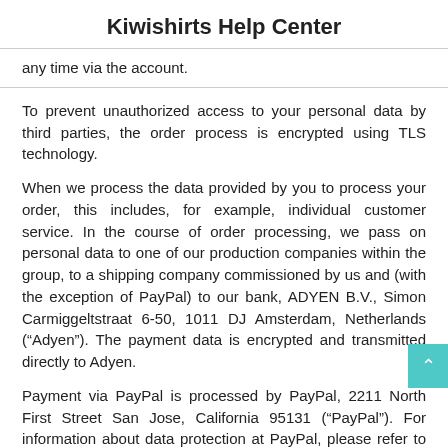Kiwishirts Help Center
any time via the account.
To prevent unauthorized access to your personal data by third parties, the order process is encrypted using TLS technology.
When we process the data provided by you to process your order, this includes, for example, individual customer service. In the course of order processing, we pass on personal data to one of our production companies within the group, to a shipping company commissioned by us and (with the exception of PayPal) to our bank, ADYEN B.V., Simon Carmiggeltstraat 6-50, 1011 DJ Amsterdam, Netherlands (“Adyen”). The payment data is encrypted and transmitted directly to Adyen.
Payment via PayPal is processed by PayPal, 2211 North First Street San Jose, California 95131 (“PayPal”). For information about data protection at PayPal, please refer to PayPal’s privacy policy: https://www.paypal.com/us/webapps/mpp/ua/privacy-full